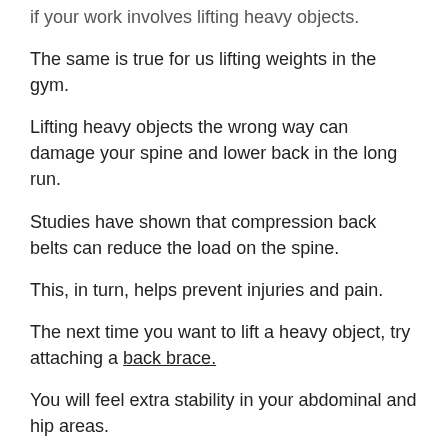if your work involves lifting heavy objects.
The same is true for us lifting weights in the gym.
Lifting heavy objects the wrong way can damage your spine and lower back in the long run.
Studies have shown that compression back belts can reduce the load on the spine.
This, in turn, helps prevent injuries and pain.
The next time you want to lift a heavy object, try attaching a back brace.
You will feel extra stability in your abdominal and hip areas.
Make life easier
As I said before, using ice, heat, or pain cream in public is not convenient.
Or, about that, when you're driving.